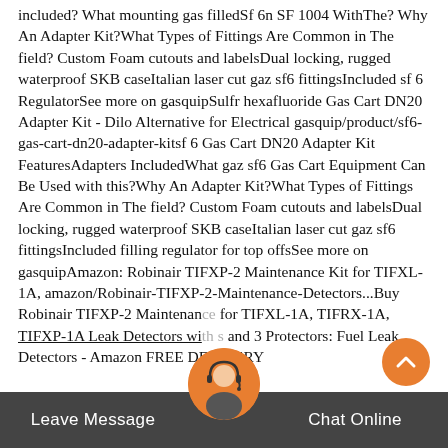included? What mounting gas filledSf 6n SF 1004 WithThe? Why An Adapter Kit?What Types of Fittings Are Common in The field? Custom Foam cutouts and labelsDual locking, rugged waterproof SKB caseItalian laser cut gaz sf6 fittingsIncluded sf 6 RegulatorSee more on gasquipSulfr hexafluoride Gas Cart DN20 Adapter Kit - Dilo Alternative for Electrical gasquip/product/sf6-gas-cart-dn20-adapter-kitsf 6 Gas Cart DN20 Adapter Kit FeaturesAdapters IncludedWhat gaz sf6 Gas Cart Equipment Can Be Used with this?Why An Adapter Kit?What Types of Fittings Are Common in The field? Custom Foam cutouts and labelsDual locking, rugged waterproof SKB caseItalian laser cut gaz sf6 fittingsIncluded filling regulator for top offsSee more on gasquipAmazon: Robinair TIFXP-2 Maintenance Kit for TIFXL-1A, amazon/Robinair-TIFXP-2-Maintenance-Detectors...Buy Robinair TIFXP-2 Maintenance for TIFXL-1A, TIFRX-1A, TIFXP-1A Leak Detectors with s and 3 Protectors: Fuel Leak Detectors - Amazon FREE DELIVERY
[Figure (illustration): Orange circular scroll-to-top button with upward chevron arrow, positioned bottom right]
[Figure (illustration): Customer support avatar: circular icon showing a person with headset, orange background, positioned at bottom center overlapping the dark bottom bar]
Leave Message   Chat Online